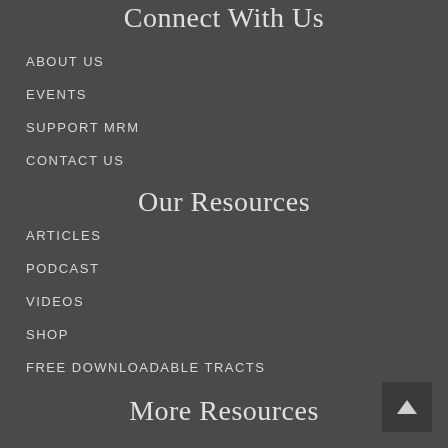Connect With Us
ABOUT US
EVENTS
SUPPORT MRM
CONTACT US
Our Resources
ARTICLES
PODCAST
VIDEOS
SHOP
FREE DOWNLOADABLE TRACTS
More Resources